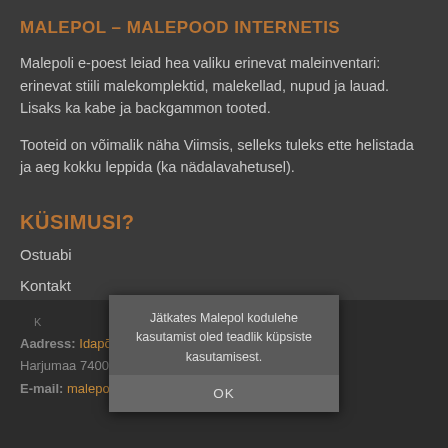MALEPOL – MALEPOOD INTERNETIS
Malepoli e-poest leiad hea valiku erinevat maleinventari: erinevat stiili malekomplektid, malekellad, nupud ja lauad. Lisaks ka kabe ja backgammon tooted.
Tooteid on võimalik näha Viimsis, selleks tuleks ette helistada ja aeg kokku leppida (ka nädalavahetusel).
KÜSIMUSI?
Ostuabi
Kontakt
Jätkates Malepol kodulehe kasutamist oled teadlik küpsiste kasutamisest.
OK
Aadress: Idapõllu tee 5a, Haabneeme, Viimsi vald.
Harjumaa 74001
E-mail: malepol@outlook.com